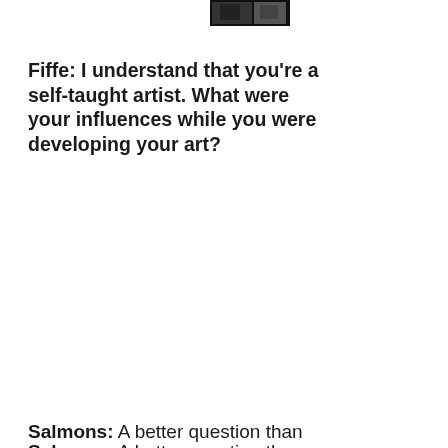[Figure (photo): Small black and white photograph at top of page]
Fiffe: I understand that you're a self-taught artist. What were your influences while you were developing your art?
Salmons: A better question than “who are your influences” is “who do you like and who are your influences?” Many artists don’t even know the difference. They list the same people often: Frazetta, Kirby, etc. But none of that stuff is evident in